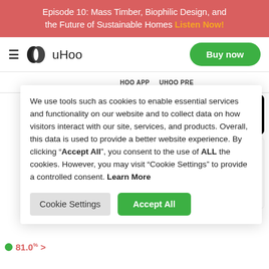Episode 10: Mass Timber, Biophilic Design, and the Future of Sustainable Homes Listen Now!
[Figure (logo): uHoo brand logo with hamburger menu icon, leaf-shaped icon, and Buy now button]
We use tools such as cookies to enable essential services and functionality on our website and to collect data on how visitors interact with our site, services, and products. Overall, this data is used to provide a better website experience. By clicking “Accept All”, you consent to the use of ALL the cookies. However, you may visit “Cookie Settings” to provide a controlled consent. Learn More
Cookie Settings
Accept All